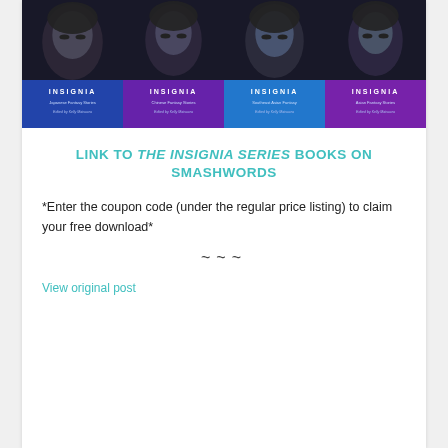[Figure (illustration): Four book covers side by side for the Insignia series, each showing a close-up of an Asian woman's face in dark/blue tones. Covers labeled: Japanese Fantasy Stories, Chinese Fantasy Stories, Southeast Asian Fantasy, and Asian Fantasy Stories, all edited by Kelly Matsuura.]
LINK TO THE INSIGNIA SERIES BOOKS ON SMASHWORDS
*Enter the coupon code (under the regular price listing) to claim your free download*
~~~
View original post